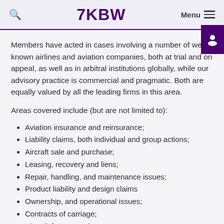7KBW
Members have acted in cases involving a number of well-known airlines and aviation companies, both at trial and on appeal, as well as in arbitral institutions globally, while our advisory practice is commercial and pragmatic. Both are equally valued by all the leading firms in this area.
Areas covered include (but are not limited to):
Aviation insurance and reinsurance;
Liability claims, both individual and group actions;
Aircraft sale and purchase;
Leasing, recovery and liens;
Repair, handling, and maintenance issues;
Product liability and design claims
Ownership, and operational issues;
Contracts of carriage;
Aircraft finance and mortgages;